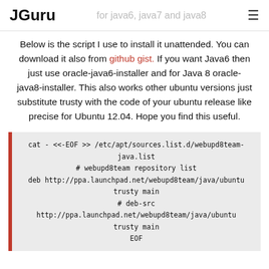JGuru   for java6, java7 and java8
Below is the script I use to install it unattended. You can download it also from github gist. If you want Java6 then just use oracle-java6-installer and for Java 8 oracle-java8-installer. This also works other ubuntu versions just substitute trusty with the code of your ubuntu release like precise for Ubuntu 12.04. Hope you find this useful.
cat - <<-EOF >> /etc/apt/sources.list.d/webupd8team-java.list
# webupd8team repository list
deb http://ppa.launchpad.net/webupd8team/java/ubuntu trusty main
# deb-src
http://ppa.launchpad.net/webupd8team/java/ubuntu trusty main
EOF